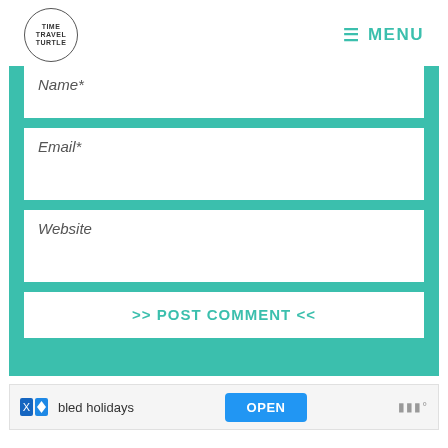TIME TRAVEL TURTLE | MENU
Name*
Email*
Website
>> POST COMMENT <<
bled holidays  OPEN